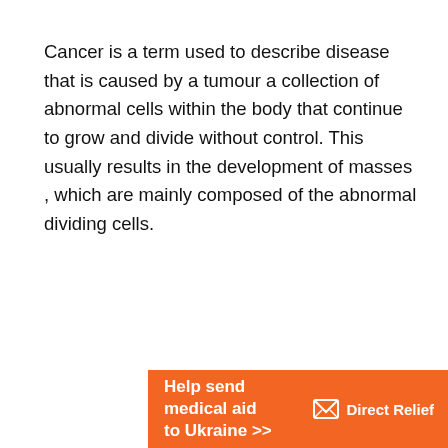Cancer is a term used to describe disease that is caused by a tumour a collection of abnormal cells within the body that continue to grow and divide without control. This usually results in the development of masses , which are mainly composed of the abnormal dividing cells.
[Figure (infographic): Orange advertisement banner for Direct Relief charity. Text reads 'Help send medical aid to Ukraine >>' with the Direct Relief logo (white envelope/gift icon and 'Direct Relief' text in white) on an orange background.]